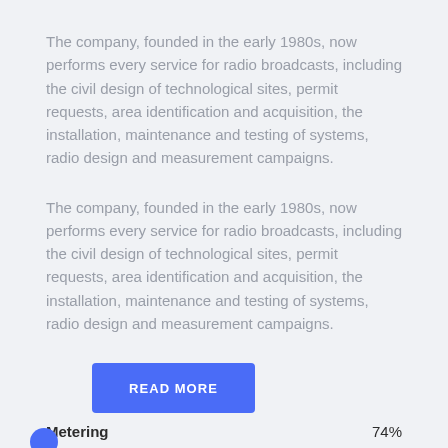The company, founded in the early 1980s, now performs every service for radio broadcasts, including the civil design of technological sites, permit requests, area identification and acquisition, the installation, maintenance and testing of systems, radio design and measurement campaigns.
The company, founded in the early 1980s, now performs every service for radio broadcasts, including the civil design of technological sites, permit requests, area identification and acquisition, the installation, maintenance and testing of systems, radio design and measurement campaigns.
READ MORE
Metering   74%